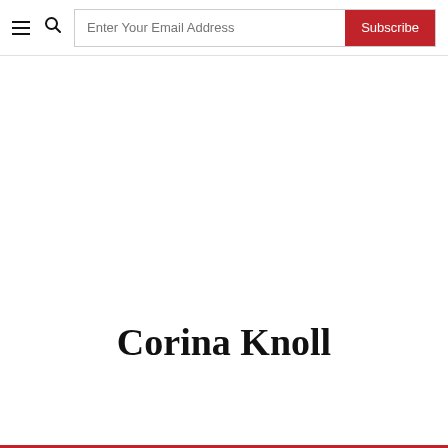≡ 🔍 Enter Your Email Address | Subscribe
Corina Knoll